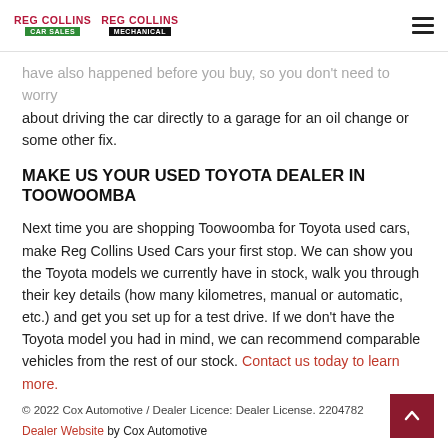REG COLLINS CAR SALES  REG COLLINS MECHANICAL
have also happened before you buy, so you don't need to worry about driving the car directly to a garage for an oil change or some other fix.
MAKE US YOUR USED TOYOTA DEALER IN TOOWOOMBA
Next time you are shopping Toowoomba for Toyota used cars, make Reg Collins Used Cars your first stop. We can show you the Toyota models we currently have in stock, walk you through their key details (how many kilometres, manual or automatic, etc.) and get you set up for a test drive. If we don't have the Toyota model you had in mind, we can recommend comparable vehicles from the rest of our stock. Contact us today to learn more.
© 2022 Cox Automotive / Dealer Licence: Dealer License. 2204782
Dealer Website by Cox Automotive